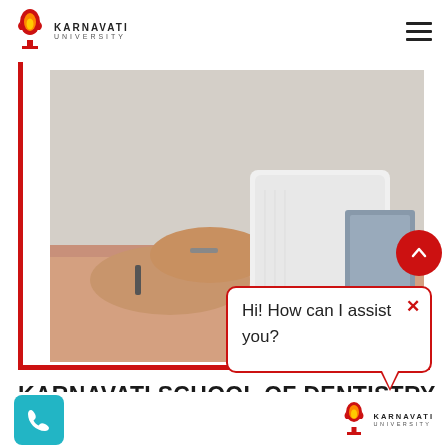KARNAVATI UNIVERSITY
[Figure (photo): Close-up photo of a dentist in white coat working with a patient's hands/wrist area, dental clinic setting]
[Figure (other): Chat bubble overlay with text: Hi! How can I assist you? with a red X close button and red scroll-up button]
KARNAVATI SCHOOL OF DENTISTRY
[Figure (other): Teal/cyan phone call button icon in bottom left]
[Figure (logo): Karnavati University logo in bottom right]